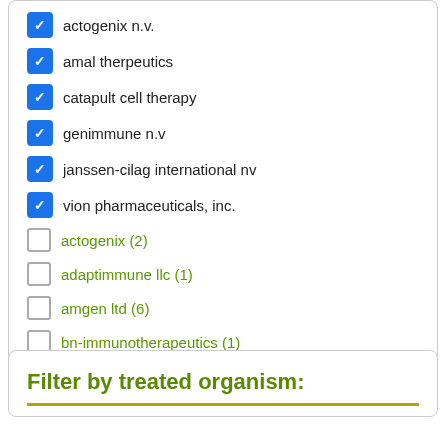actogenix n.v. (checked)
amal therpeutics (checked)
catapult cell therapy (checked)
genimmune n.v (checked)
janssen-cilag international nv (checked)
vion pharmaceuticals, inc. (checked)
actogenix (2) (unchecked)
adaptimmune llc (1) (unchecked)
amgen ltd (6) (unchecked)
bn-immunotherapeutics (1) (unchecked)
Show more
Filter by treated organism: